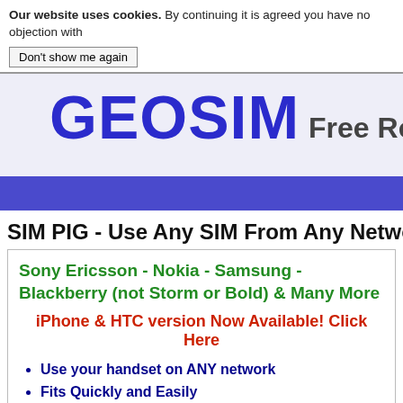Our website uses cookies. By continuing it is agreed you have no objection with
Don't show me again
GEOSIM Free Roam
SIM PIG - Use Any SIM From Any Network In
Sony Ericsson - Nokia - Samsung - Blackberry (not Storm or Bold) & Many More
iPhone & HTC version Now Available! Click Here
Use your handset on ANY network
Fits Quickly and Easily
Does not affect your warranty
Works in most modern handsets including difficult to unlock Nokia N & E series
Use it in all your handsets